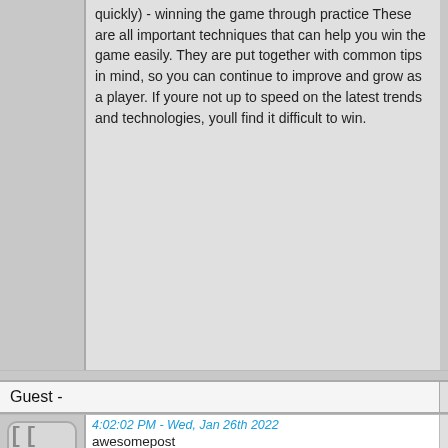quickly) - winning the game through practice
These are all important techniques that can help you win the game easily. They are put together with common tips in mind, so you can continue to improve and grow as a player. If youre not up to speed on the latest trends and technologies, youll find it difficult to win.
Guest -
4:02:02 PM - Wed, Jan 26th 2022
awesomepost

https://joinlive77.com 🔒
https://www.steadystateroasting.com/blogs/news/... comment=128050266223#comment... 🔒
https://www.blackroll.com.au/blogs/exercises/work... comment=1185636024... 🔒
http://www.openskiespsychiatry.com.au/news/39/... moving-in-the... 🔗
https://gratefulgnome.com/blogs/news/red-cube-h... comment=125867983046#co... 🔒